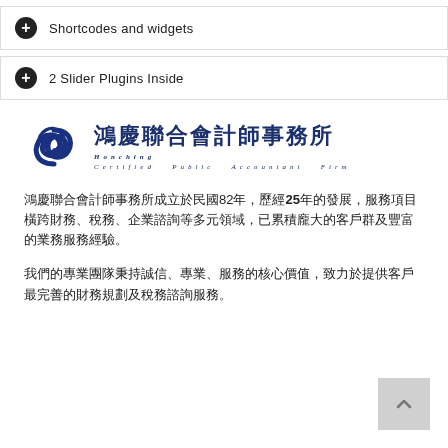+ Shortcodes and widgets
+ 2 Slider Plugins Inside
[Figure (logo): Honching Certified Public Accountant Firm logo with Chinese text 鴻慶聯合會計師事務所 and a blue triple-loop icon]
鴻慶聯合會計師事務所成立於民國82年，歷經25年的發展，服務項目橫跨財務、稅務、企業諮詢等多元領域，已累積龐大的客戶群及豐富的業務服務經驗。
我們的專業團隊秉持誠信、專業、服務的核心價值，致力於提供客戶最完善的財務規劃及稅務諮詢服務。